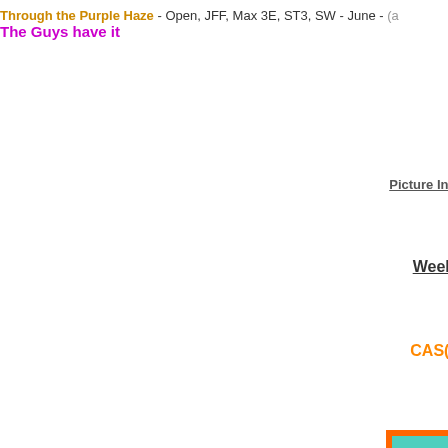Through the Purple Haze - Open, JFF, Max 3E, ST3, SW - June - (a
The Guys have it
Picture Inspiration and Sketches
Weekly Challenges
CAS(E) This Sketch
[Figure (illustration): Card sketch showing a white card with orange and teal/turquoise painted border frame. Inside the card are 6 buttons arranged in pairs of 2 rows at top, a SENTIMENT text label in the middle, and 2 buttons at the bottom.]